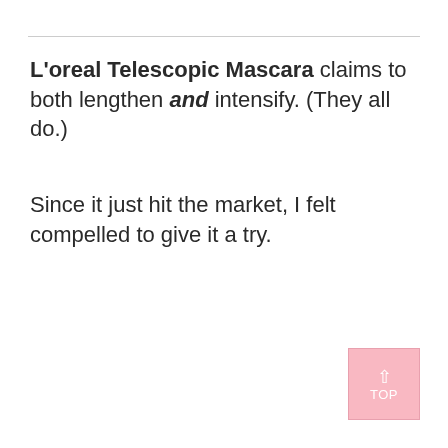L'oreal Telescopic Mascara claims to both lengthen and intensify. (They all do.)
Since it just hit the market, I felt compelled to give it a try.